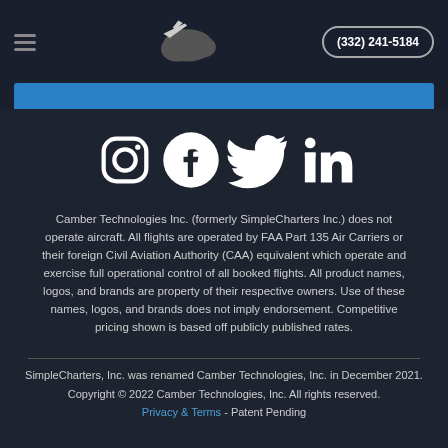(332) 241-5184
[Figure (logo): Camber Technologies / SimpleCharters airplane and cloud logo]
[Figure (infographic): Social media icons row: Instagram, Facebook, Twitter, LinkedIn]
Camber Technologies Inc. (formerly SimpleCharters Inc.) does not operate aircraft. All flights are operated by FAA Part 135 Air Carriers or their foreign Civil Aviation Authority (CAA) equivalent which operate and exercise full operational control of all booked flights. All product names, logos, and brands are property of their respective owners. Use of these names, logos, and brands does not imply endorsement. Competitive pricing shown is based off publicly published rates.
SimpleCharters, Inc. was renamed Camber Technologies, Inc. in December 2021.
Copyright © 2022 Camber Technologies, Inc. All rights reserved.
Privacy & Terms - Patent Pending